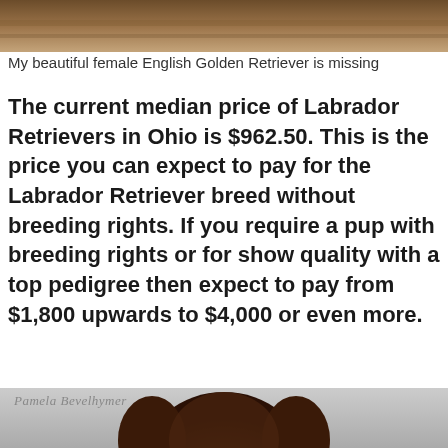[Figure (photo): Partial photo of a dog on a carpet/rug surface, cropped at top of page]
My beautiful female English Golden Retriever is missing
The current median price of Labrador Retrievers in Ohio is $962.50. This is the price you can expect to pay for the Labrador Retriever breed without breeding rights. If you require a pup with breeding rights or for show quality with a top pedigree then expect to pay from $1,800 upwards to $4,000 or even more.
[Figure (photo): Photo of a chocolate Labrador puppy with blue eyes on a grey background, with watermark text 'Pamela Bevelhymer']